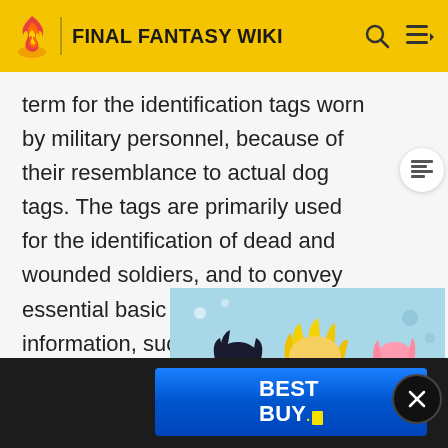FINAL FANTASY WIKI
term for the identification tags worn by military personnel, because of their resemblance to actual dog tags. The tags are primarily used for the identification of dead and wounded soldiers, and to convey essential basic medical information, such as blood type and history of inoculations, along with religious preference.
[Figure (illustration): Anime characters from Naruto: Sasuke (black hair), Naruto (blonde spiky hair, headband), and Sakura (pink hair) against a light blue background. An advertisement for Best Buy is overlaid at the bottom with the Best Buy logo and yellow tag.]